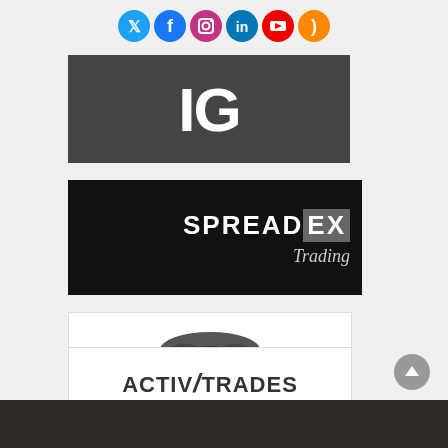[Figure (infographic): Row of 6 social media circular icon buttons: Twitter (blue), Facebook (blue), Instagram (purple/magenta), LinkedIn (blue), YouTube (red), RSS (orange)]
[Figure (logo): IG trading broker logo - white bold letters 'IG' on dark grey/charcoal background]
[Figure (logo): Spreadex Trading logo - white text 'SPREAD' with 'EX' in grey box and 'Trading' in italic below, on black background]
[Figure (logo): WisdomTree logo - black tree illustration above 'WISDOMTREE' text with registered trademark symbol, on white background]
[Figure (logo): ActivTrades logo - bold 'ACTIV/TRADES' text with tagline 'Online Broker since 2001' on white background]